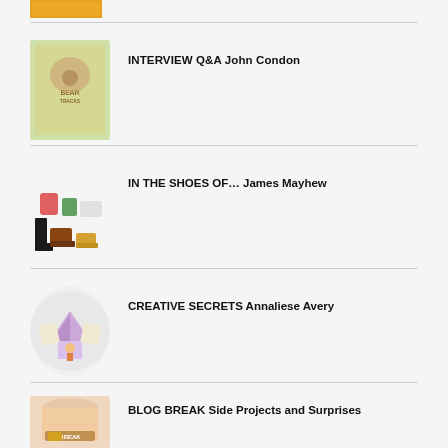[Figure (photo): Thumbnail image of a book cover at the top]
INTERVIEW Q&A John Condon
[Figure (illustration): Illustration showing various types of shoes and boots]
IN THE SHOES OF… James Mayhew
[Figure (illustration): Circular illustration of a character reading under a book tent]
CREATIVE SECRETS Annaliese Avery
[Figure (photo): Photo of a jar labeled BREAK with decorative label]
BLOG BREAK Side Projects and Surprises